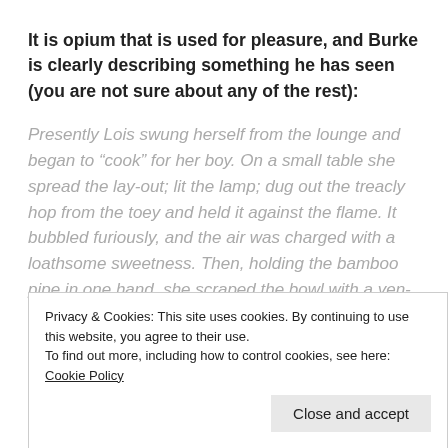It is opium that is used for pleasure, and Burke is clearly describing something he has seen (you are not sure about any of the rest):
Presently Lois swung herself from the lounge and began to “cook” for her boy. On a small table she spread the lay-out; lit the lamp; dug out the treacly hop from the toey and held it against the flame. It bubbled furiously, and the air was charged with a loathsome sweetness. Then, holding the bamboo pipe in one hand, she scraped the bowl with a yen-shi-gow, and kneaded the brown clot with the yen-hok. Slowly it changed colour as the poison
Privacy & Cookies: This site uses cookies. By continuing to use this website, you agree to their use.
To find out more, including how to control cookies, see here: Cookie Policy